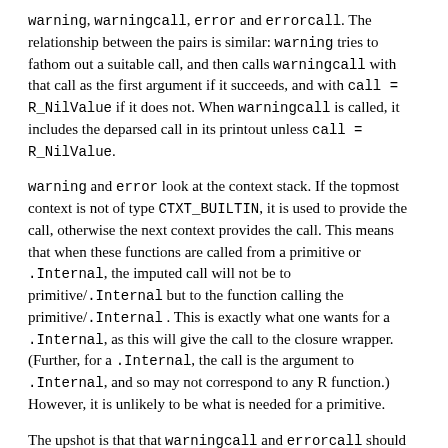warning, warningcall, error and errorcall. The relationship between the pairs is similar: warning tries to fathom out a suitable call, and then calls warningcall with that call as the first argument if it succeeds, and with call = R_NilValue if it does not. When warningcall is called, it includes the deparsed call in its printout unless call = R_NilValue.
warning and error look at the context stack. If the topmost context is not of type CTXT_BUILTIN, it is used to provide the call, otherwise the next context provides the call. This means that when these functions are called from a primitive or .Internal, the imputed call will not be to primitive/.Internal but to the function calling the primitive/.Internal . This is exactly what one wants for a .Internal, as this will give the call to the closure wrapper. (Further, for a .Internal, the call is the argument to .Internal, and so may not correspond to any R function.) However, it is unlikely to be what is needed for a primitive.
The upshot is that that warningcall and errorcall should normally be used for code called from a primitive, and warning and error should be used for code called from a .Internal (and necessarily from .Call, .C and so on, where the call is not passed down). However, there are two complications. One is that code might be called from either a primitive or a ...